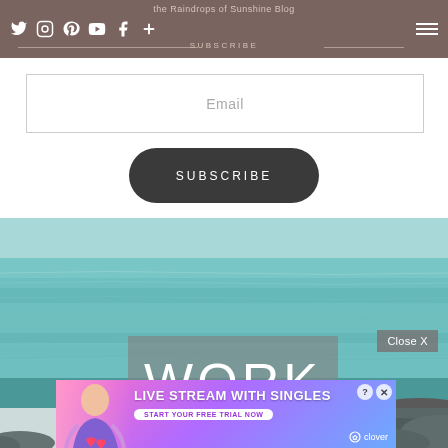the Raindrops of Sunshine Blog
SUBSCRIBE
Email
SUBSCRIBE
[Figure (photo): Ocean/sea water with turquoise-blue calm water and rocky shore, with 'WORK' text overlay on a semi-transparent grey box, and an advertisement banner for 'LIVE STREAM WITH SINGLES' by Clover at the bottom]